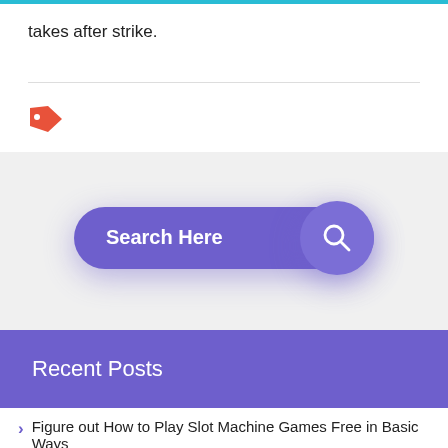takes after strike.
[Figure (illustration): Red tag icon]
[Figure (screenshot): Purple pill-shaped search bar with text 'Search Here' and a circular search button with magnifying glass icon]
Recent Posts
Figure out How to Play Slot Machine Games Free in Basic Ways